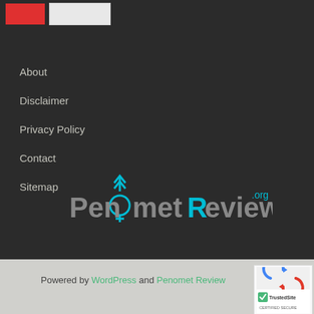[Figure (screenshot): Red button and light grey button at top]
About
Disclaimer
Privacy Policy
Contact
Sitemap
[Figure (logo): Penomet Review .org logo with cyan/blue text and arrow icon]
Powered by WordPress and Penomet Review
[Figure (logo): TrustedSite Certified Secure badge with reCAPTCHA icon]